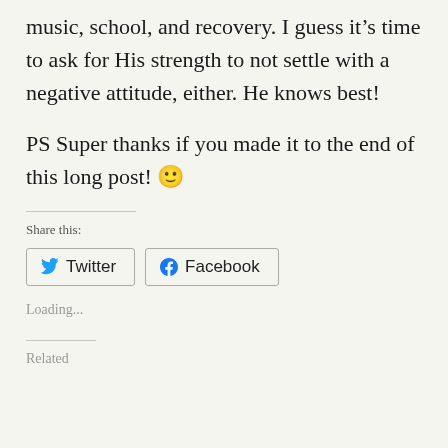music, school, and recovery. I guess it’s time to ask for His strength to not settle with a negative attitude, either. He knows best!
PS Super thanks if you made it to the end of this long post! 🙂
Share this:
[Figure (other): Share buttons for Twitter and Facebook]
Loading...
Related